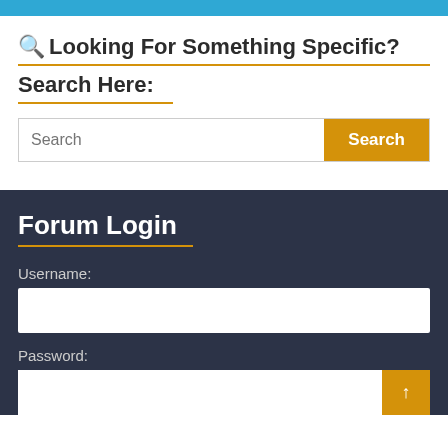[Figure (screenshot): Blue top navigation bar strip]
Looking For Something Specific? Search Here:
[Figure (screenshot): Search input field with Search button]
Forum Login
Username:
Password: